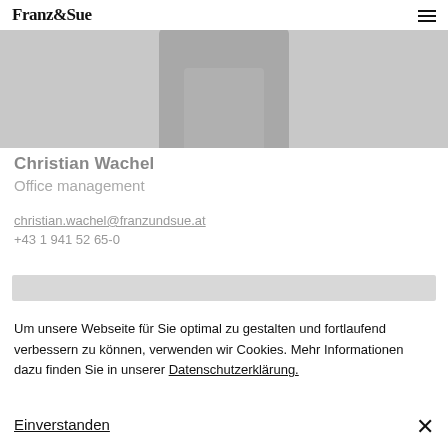Franz&Sue
[Figure (photo): Profile photo of Christian Wachel, showing torso/shoulders, gray tones]
Christian Wachel
Office management
christian.wachel@franzundsue.at
+43 1 941 52 65-0
Um unsere Webseite für Sie optimal zu gestalten und fortlaufend verbessern zu können, verwenden wir Cookies. Mehr Informationen dazu finden Sie in unserer Datenschutzerklärung.
Einverstanden